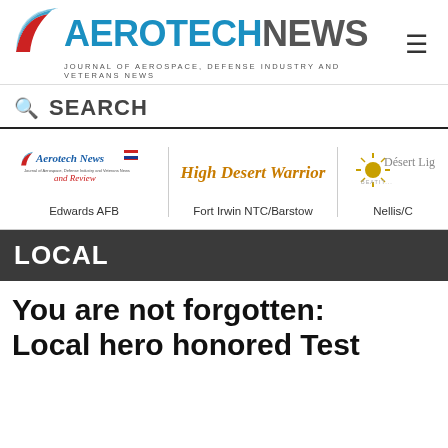[Figure (logo): Aerotech News logo with wing graphic, blue and red text reading AEROTECHNEWS, tagline JOURNAL OF AEROSPACE, DEFENSE INDUSTRY AND VETERANS NEWS]
SEARCH
[Figure (infographic): Three publication logos in a row: Aerotech News and Review (Edwards AFB), High Desert Warrior (Fort Irwin NTC/Barstow), Desert Light (Nellis/C...)]
LOCAL
You are not forgotten: Local hero honored Test